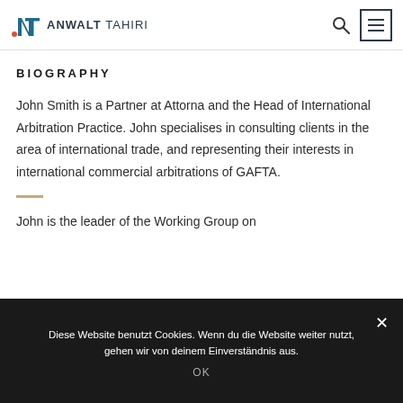ANWALT TAHIRI
BIOGRAPHY
John Smith is a Partner at Attorna and the Head of International Arbitration Practice. John specialises in consulting clients in the area of international trade, and representing their interests in international commercial arbitrations of GAFTA.
John is the leader of the Working Group on
Diese Website benutzt Cookies. Wenn du die Website weiter nutzt, gehen wir von deinem Einverständnis aus.